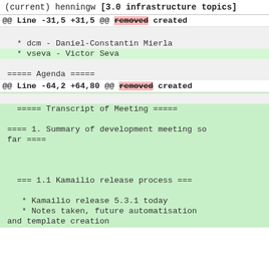(current) henningw [3.0 infrastructure topics]
@@ Line -31,5 +31,5 @@ removed created
* dcm - Daniel-Constantin Mierla
  * vseva - Victor Seva

===== Agenda =====
@@ Line -64,2 +64,80 @@ removed created
===== Transcript of Meeting =====

  ==== 1. Summary of development meeting so far ====


  === 1.1 Kamailio release process ===

    * Kamailio release 5.3.1 today
    * Notes taken, future automatisation and template creation